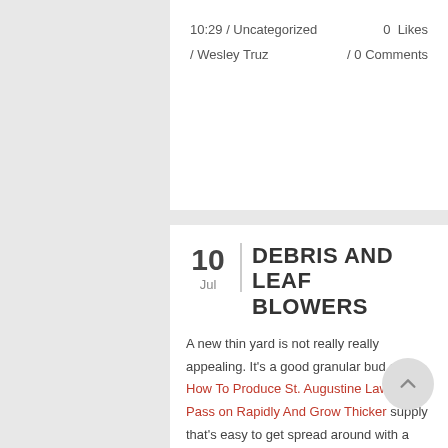10:29 / Uncategorized / Wesley Truz
0 Likes / 0 Comments
DEBRIS AND LEAF BLOWERS
10 Jul
A new thin yard is not really really appealing. It's a good granular bud and How To Produce St. Augustine Lawn Pass on Rapidly And Grow Thicker supply that's easy to get spread around with a good put out spreader. The style features a convenient push-start